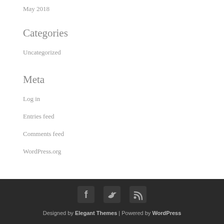May 2018
Categories
Uncategorized
Meta
Log in
Entries feed
Comments feed
WordPress.org
Designed by Elegant Themes | Powered by WordPress